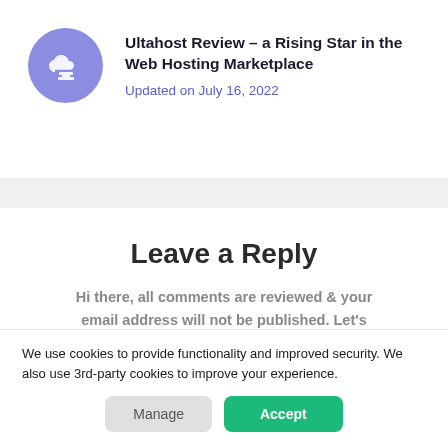Ultahost Review – a Rising Star in the Web Hosting Marketplace
Updated on July 16, 2022
Leave a Reply
Hi there, all comments are reviewed & your email address will not be published. Let's have an awesome conversation.
We use cookies to provide functionality and improved security. We also use 3rd-party cookies to improve your experience.